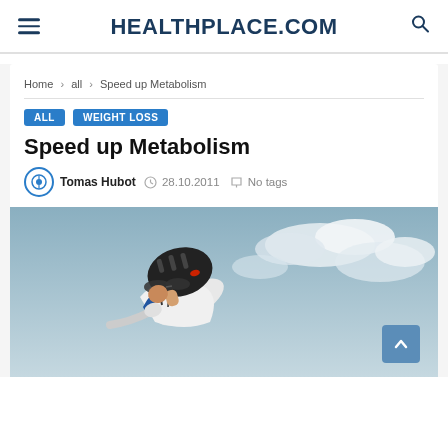HEALTHPLACE.COM
Home > all > Speed up Metabolism
ALL  WEIGHT LOSS
Speed up Metabolism
Tomas Hubot  28.10.2011  No tags
[Figure (photo): Cyclist wearing a helmet and sunglasses, leaning forward on a bike against a cloudy sky background.]